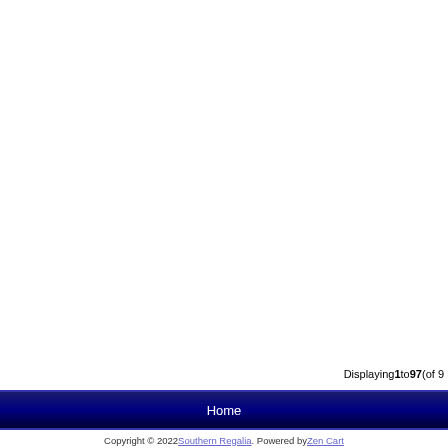Displaying 1 to 97 (of 9
Home
Copyright © 2022 Southern Regalia. Powered by Zen Cart